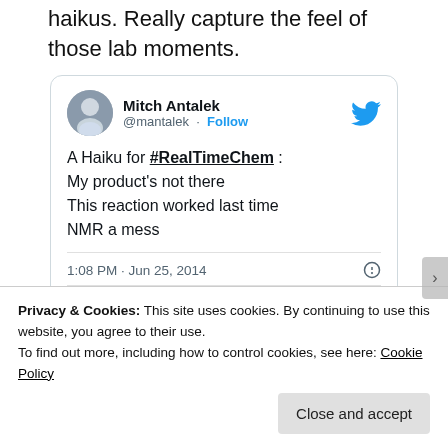haikus. Really capture the feel of those lab moments.
[Figure (screenshot): Embedded tweet from @mantalek (Mitch Antalek) reading: A Haiku for #RealTimeChem: My product's not there / This reaction worked last time / NMR a mess. Posted 1:08 PM · Jun 25, 2014. 3 likes. Reply and Copy link actions shown.]
Privacy & Cookies: This site uses cookies. By continuing to use this website, you agree to their use. To find out more, including how to control cookies, see here: Cookie Policy